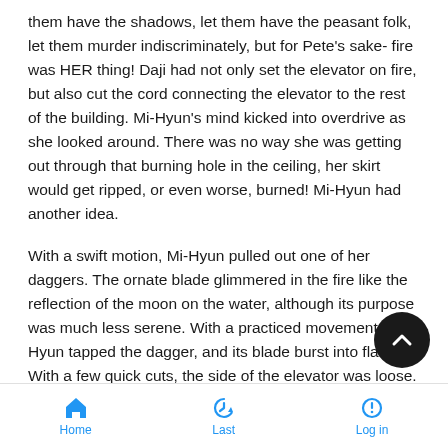them have the shadows, let them have the peasant folk, let them murder indiscriminately, but for Pete's sake- fire was HER thing! Daji had not only set the elevator on fire, but also cut the cord connecting the elevator to the rest of the building. Mi-Hyun's mind kicked into overdrive as she looked around. There was no way she was getting out through that burning hole in the ceiling, her skirt would get ripped, or even worse, burned! Mi-Hyun had another idea.
With a swift motion, Mi-Hyun pulled out one of her daggers. The ornate blade glimmered in the fire like the reflection of the moon on the water, although its purpose was much less serene. With a practiced movement, Mi-Hyun tapped the dagger, and its blade burst into flame. With a few quick cuts, the side of the elevator was loose. With a quick kink, the elevator ruptured, and a large chunk of it was sent flying downwards. With a heave, the metal box tilted to the side, exposing a huge gap. Mi-Hyun proceeded to jump through this gap.
Home  Last  Log in